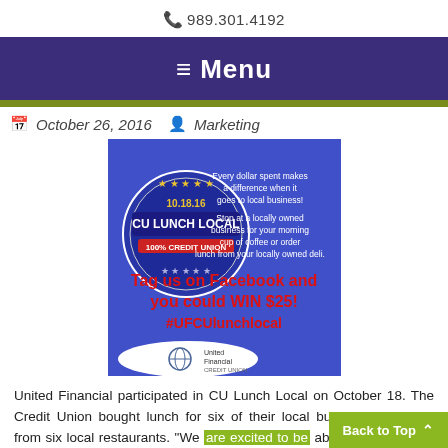989.301.4192
≡ Menu
October 26, 2016   Marketing
[Figure (infographic): CU Lunch Local promotional graphic dated 10.18.16. Blue background with a circular logo reading 'CU LUNCH LOCAL 100% CREDIT UNION' with stars. Text: 'Every dollar spent makes a difference when it goes to local business! Stop at a locally owned business for your morning cup of coffee or order lunch from your locally owned deli. Tag us on Facebook and you could WIN $25! #UFCUlunchlocal'. United Financial Credit Union logo at bottom.]
United Financial participated in CU Lunch Local on October 18. The Credit Union bought lunch for six of their local business accounts, from six local restaurants. "We are excited to be able to use this day to support local restaurants Read More ...